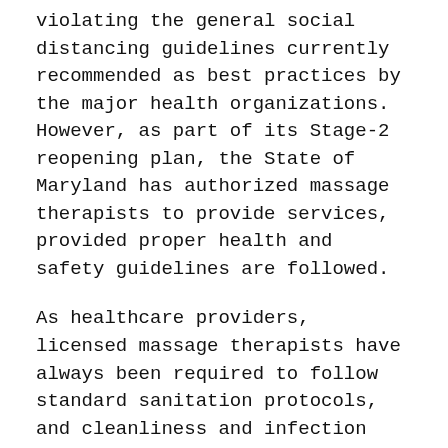violating the general social distancing guidelines currently recommended as best practices by the major health organizations. However, as part of its Stage-2 reopening plan, the State of Maryland has authorized massage therapists to provide services, provided proper health and safety guidelines are followed.
As healthcare providers, licensed massage therapists have always been required to follow standard sanitation protocols, and cleanliness and infection control has always been a top priority at Frederick Bodywork. Routine procedures have always included:
Thorough sanitation of the